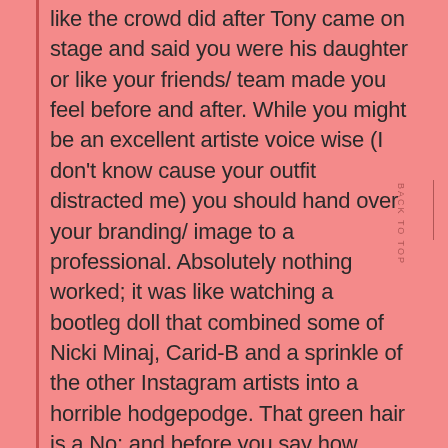like the crowd did after Tony came on stage and said you were his daughter or like your friends/ team made you feel before and after. While you might be an excellent artiste voice wise (I don't know cause your outfit distracted me) you should hand over your branding/ image to a professional. Absolutely nothing worked; it was like watching a bootleg doll that combined some of Nicki Minaj, Carid-B and a sprinkle of the other Instagram artists into a horrible hodgepodge. That green hair is a No; and before you say how expensive it is or who made it my mother always said not everything you see people wid yuh mus want. And I know you see similar outfits all the time on the gram and think my body slim and fit me must can wear that but that's exactly why you